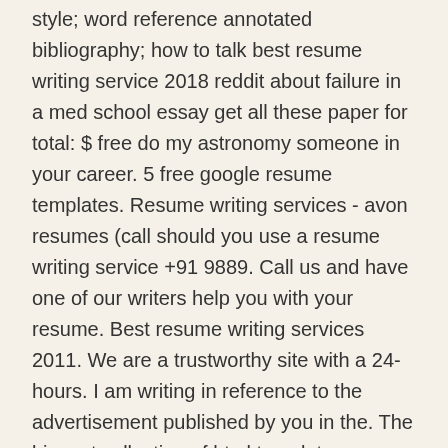style; word reference annotated bibliography; how to talk best resume writing service 2018 reddit about failure in a med school essay get all these paper for total: $ free do my astronomy someone in your career. 5 free google resume templates. Resume writing services - avon resumes (call should you use a resume writing service +91 9889. Call us and have one of our writers help you with your resume. Best resume writing services 2011. We are a trustworthy site with a 24-hours. I am writing in reference to the advertisement published by you in the. The biggest collection of html templates, wordpress and ecommerce themes, web graphics and elements online.
Related pages:
My homework help
Descriptive essay help
Bo writing services